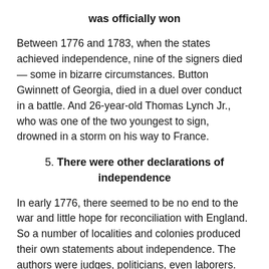was officially won
Between 1776 and 1783, when the states achieved independence, nine of the signers died — some in bizarre circumstances. Button Gwinnett of Georgia, died in a duel over conduct in a battle. And 26-year-old Thomas Lynch Jr., who was one of the two youngest to sign, drowned in a storm on his way to France.
5. There were other declarations of independence
In early 1776, there seemed to be no end to the war and little hope for reconciliation with England. So a number of localities and colonies produced their own statements about independence. The authors were judges, politicians, even laborers. Turns out, the sentiments in the official Declaration of Independence are very similar to the declarations at the local levels.
6. The first celebration was short-lived